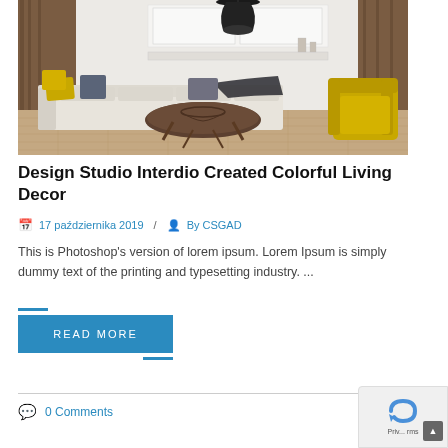[Figure (photo): Interior living room with white sofa, yellow and grey cushions, dark coffee table with wire bowl, yellow armchair, white kitchen cabinets in background, pendant lamp, wooden floors and walls]
Design Studio Interdio Created Colorful Living Decor
17 października 2019  /  By CSGAD
This is Photoshop's version of lorem ipsum. Lorem Ipsum is simply dummy text of the printing and typesetting industry. ...
READ MORE
0 Comments